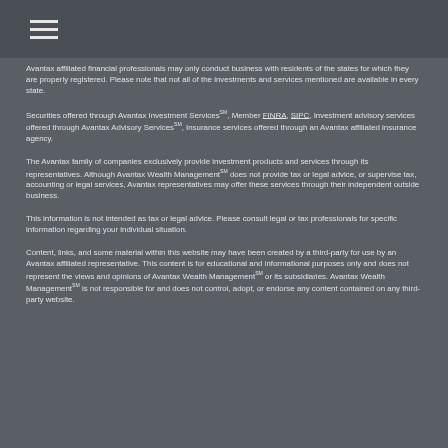Avantax affiliated financial professionals may only conduct business with residents of the states for which they are properly registered. Please note that not all of the investments and services mentioned are available in every state.
Securities offered through Avantax Investment ServicesSM, Member FINRA, SIPC, Investment advisory services offered through Avantax Advisory ServicesSM, Insurance services offered through an Avantax affiliated insurance agency.
The Avantax family of companies exclusively provide investment products and services through its representatives. Although Avantax Wealth ManagementSM does not provide tax or legal advice, or supervise tax, accounting or legal services, Avantax representatives may offer these services through their independent outside business.
This information is not intended as tax or legal advice. Please consult legal or tax professionals for specific information regarding your individual situation.
Content, links, and some material within this website may have been created by a third-party for use by an Avantax affiliated representative. This content is for educational and informational purposes only and does not represent the views and opinions of Avantax Wealth ManagementSM or its subsidiaries. Avantax Wealth ManagementSM is not responsible for and does not control, adopt, or endorse any content contained on any third-party website.